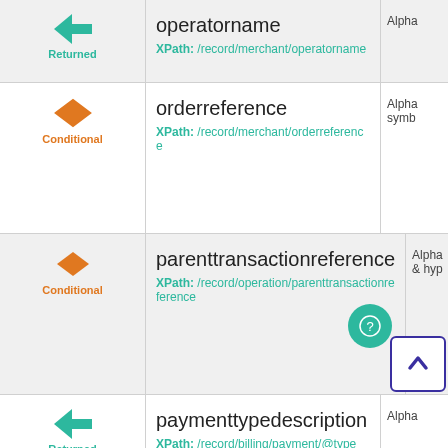| Icon | Field / XPath | Type |
| --- | --- | --- |
| Returned | operatorname
XPath: /record/merchant/operatorname | Alpha |
| Conditional | orderreference
XPath: /record/merchant/orderreference | Alphasymb |
| Conditional | parenttransactionreference
XPath: /record/operation/parenttransactionreference | Alpha& hyp |
| Returned | paymenttypedescription
XPath: /record/billing/payment/@type | Alpha |